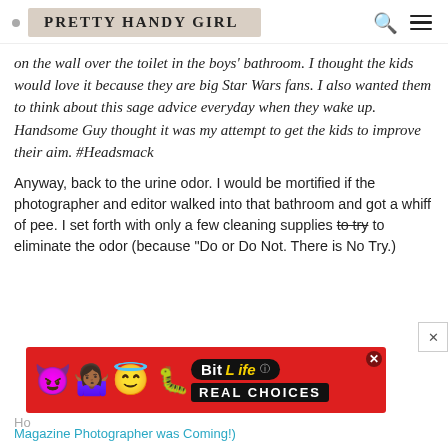PRETTY HANDY GIRL
on the wall over the toilet in the boys' bathroom. I thought the kids would love it because they are big Star Wars fans. I also wanted them to think about this sage advice everyday when they wake up. Handsome Guy thought it was my attempt to get the kids to improve their aim. #Headsmack
Anyway, back to the urine odor. I would be mortified if the photographer and editor walked into that bathroom and got a whiff of pee. I set forth with only a few cleaning supplies to try to eliminate the odor (because "Do or Do Not. There is No Try.)
[Figure (other): BitLife advertisement banner with emoji characters and red background showing 'REAL CHOICES']
How
Magazine Photographer was Coming!)